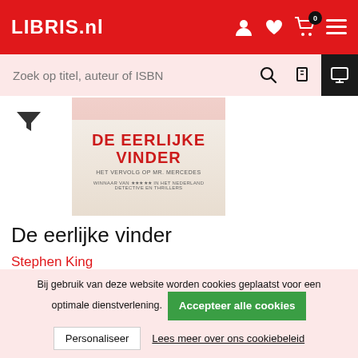LIBRIS.nl
Zoek op titel, auteur of ISBN
[Figure (photo): Book cover of 'De eerlijke vinder' by Stephen King, with red title text and mention of Mr. Mercedes series]
De eerlijke vinder
Stephen King
Serie: Mr. Mercedes (2)
ISBN: 9789024567263  ebook: EPUB met watermerk  Direct te downloaden
Bij gebruik van deze website worden cookies geplaatst voor een optimale dienstverlening.
Accepteer alle cookies
Personaliseer
Lees meer over ons cookiebeleid